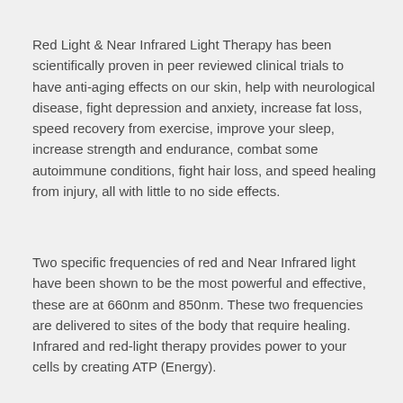Red Light & Near Infrared Light Therapy has been scientifically proven in peer reviewed clinical trials to have anti-aging effects on our skin, help with neurological disease, fight depression and anxiety, increase fat loss, speed recovery from exercise, improve your sleep, increase strength and endurance, combat some autoimmune conditions, fight hair loss, and speed healing from injury, all with little to no side effects.
Two specific frequencies of red and Near Infrared light have been shown to be the most powerful and effective, these are at 660nm and 850nm. These two frequencies are delivered to sites of the body that require healing. Infrared and red-light therapy provides power to your cells by creating ATP (Energy).